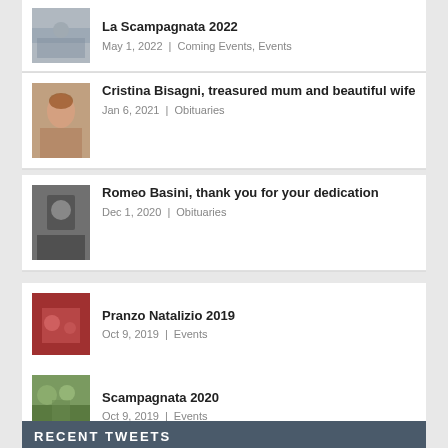La Scampagnata 2022 | May 1, 2022 | Coming Events, Events
Cristina Bisagni, treasured mum and beautiful wife | Jan 6, 2021 | Obituaries
Romeo Basini, thank you for your dedication | Dec 1, 2020 | Obituaries
Pranzo Natalizio 2019 | Oct 9, 2019 | Events
Scampagnata 2020 | Oct 9, 2019 | Events
RECENT TWEETS